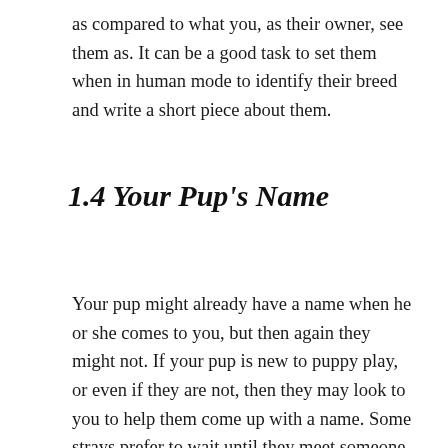as compared to what you, as their owner, see them as. It can be a good task to set them when in human mode to identify their breed and write a short piece about them.
1.4 Your Pup's Name
Your pup might already have a name when he or she comes to you, but then again they might not. If your pup is new to puppy play, or even if they are not, then they may look to you to help them come up with a name. Some strays prefer to wait until they meet someone they want as an owner and let them choose their name.